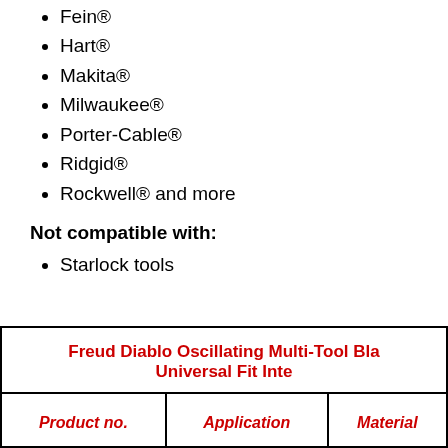Fein®
Hart®
Makita®
Milwaukee®
Porter-Cable®
Ridgid®
Rockwell® and more
Not compatible with:
Starlock tools
| Product no. | Application | Material |
| --- | --- | --- |